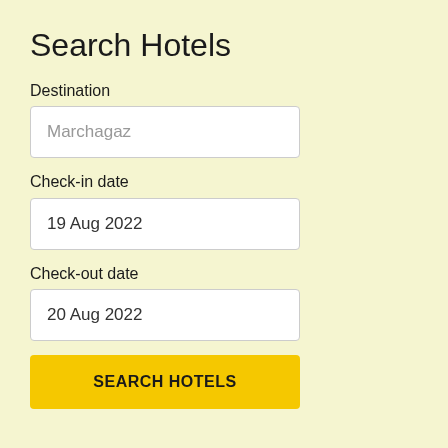Search Hotels
Destination
Marchagaz
Check-in date
19 Aug 2022
Check-out date
20 Aug 2022
SEARCH HOTELS